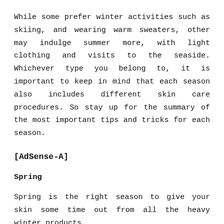While some prefer winter activities such as skiing, and wearing warm sweaters, other may indulge summer more, with light clothing and visits to the seaside. Whichever type you belong to, it is important to keep in mind that each season also includes different skin care procedures. So stay up for the summary of the most important tips and tricks for each season.
[AdSense-A]
Spring
Spring is the right season to give your skin some time out from all the heavy winter products.
– Keep using your SPF – no matter there is no visible